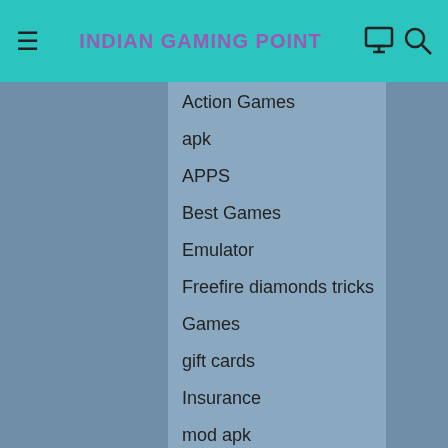INDIAN GAMING POINT
Action Games
apk
APPS
Best Games
Emulator
Freefire diamonds tricks
Games
gift cards
Insurance
mod apk
PC games
PPSSPP
PUBG UC